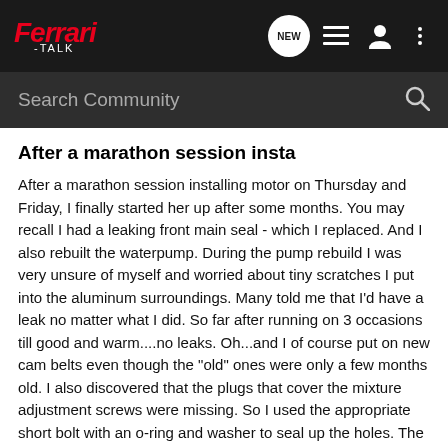Ferrari -TALK
Search Community
After a marathon session insta
After a marathon session installing motor on Thursday and Friday, I finally started her up after some months. You may recall I had a leaking front main seal - which I replaced. And I also rebuilt the waterpump. During the pump rebuild I was very unsure of myself and worried about tiny scratches I put into the aluminum surroundings. Many told me that I'd have a leak no matter what I did. So far after running on 3 occasions till good and warm....no leaks. Oh...and I of course put on new cam belts even though the "old" ones were only a few months old. I also discovered that the plugs that cover the mixture adjustment screws were missing. So I used the appropriate short bolt with an o-ring and washer to seal up the holes. The car runs very differently now as opposed to before. After all this